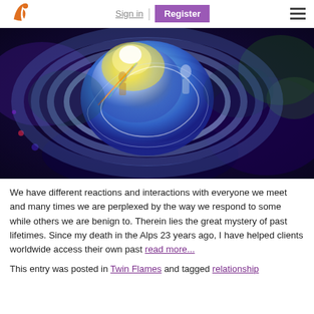Sign in | Register
[Figure (illustration): Colorful abstract circular painting with blue, yellow, and green swirling concentric rings on a dark background with silhouetted figures]
We have different reactions and interactions with everyone we meet and many times we are perplexed by the way we respond to some while others we are benign to. Therein lies the great mystery of past lifetimes. Since my death in the Alps 23 years ago, I have helped clients worldwide access their own past read more...
This entry was posted in Twin Flames and tagged relationship